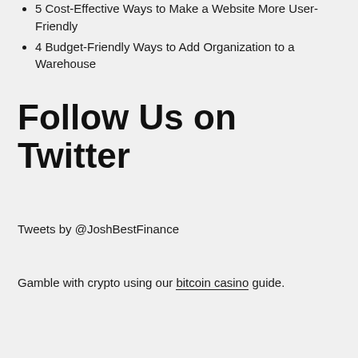5 Cost-Effective Ways to Make a Website More User-Friendly
4 Budget-Friendly Ways to Add Organization to a Warehouse
Follow Us on Twitter
Tweets by @JoshBestFinance
Gamble with crypto using our bitcoin casino guide.